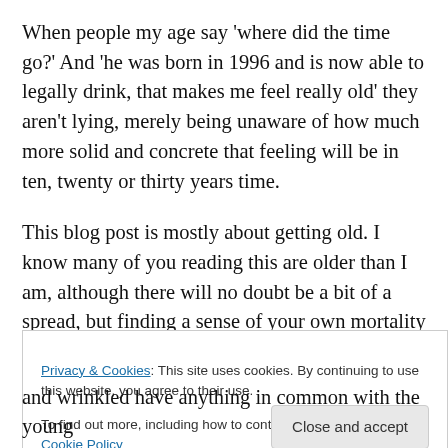When people my age say 'where did the time go?' And 'he was born in 1996 and is now able to legally drink, that makes me feel really old' they aren't lying, merely being unaware of how much more solid and concrete that feeling will be in ten, twenty or thirty years time.
This blog post is mostly about getting old. I know many of you reading this are older than I am, although there will no doubt be a bit of a spread, but finding a sense of your own mortality somehow equates with the end of your younger life, a divesting of your childhood. At a certain point you
Privacy & Cookies: This site uses cookies. By continuing to use this website, you agree to their use.
To find out more, including how to control cookies, see here: Cookie Policy
and wrinkled have anything in common with the young